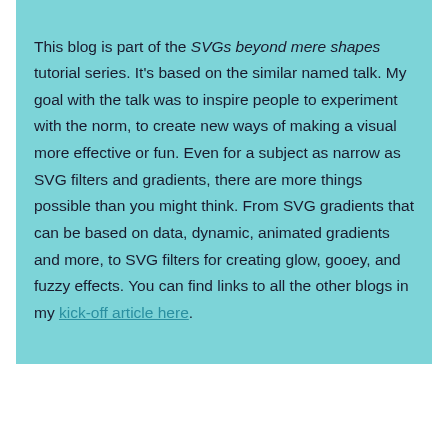This blog is part of the SVGs beyond mere shapes tutorial series. It's based on the similar named talk. My goal with the talk was to inspire people to experiment with the norm, to create new ways of making a visual more effective or fun. Even for a subject as narrow as SVG filters and gradients, there are more things possible than you might think. From SVG gradients that can be based on data, dynamic, animated gradients and more, to SVG filters for creating glow, gooey, and fuzzy effects. You can find links to all the other blogs in my kick-off article here.